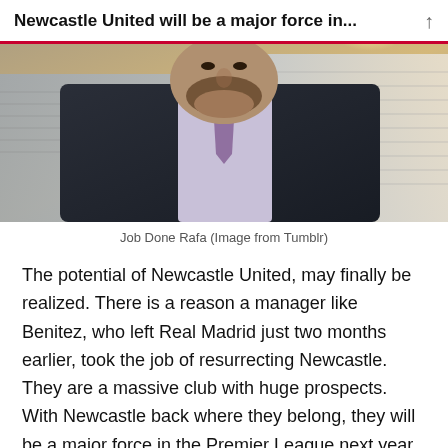Newcastle United will be a major force in…
[Figure (photo): A man in a dark suit with a purple tie standing in front of a football stadium with empty stands and green pitch visible in the background, with sunlight flaring.]
Job Done Rafa (Image from Tumblr)
The potential of Newcastle United, may finally be realized. There is a reason a manager like Benitez, who left Real Madrid just two months earlier, took the job of resurrecting Newcastle. They are a massive club with huge prospects. With Newcastle back where they belong, they will be a major force in the Premier League next year. After the